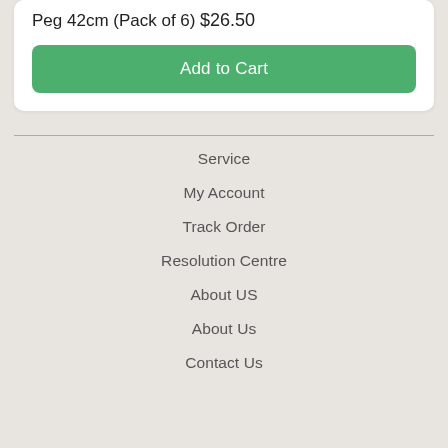Peg 42cm (Pack of 6)
$26.50
Add to Cart
Service
My Account
Track Order
Resolution Centre
About US
About Us
Contact Us